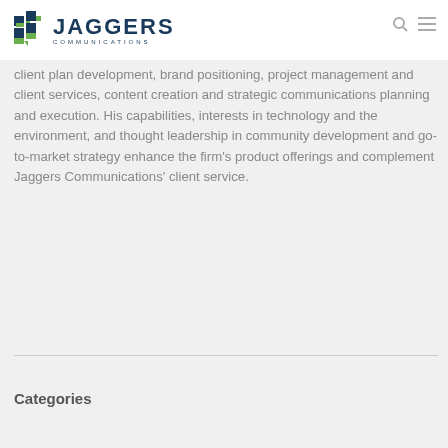JAGGERS COMMUNICATIONS
client plan development, brand positioning, project management and client services, content creation and strategic communications planning and execution. His capabilities, interests in technology and the environment, and thought leadership in community development and go-to-market strategy enhance the firm's product offerings and complement Jaggers Communications' client service.
Categories